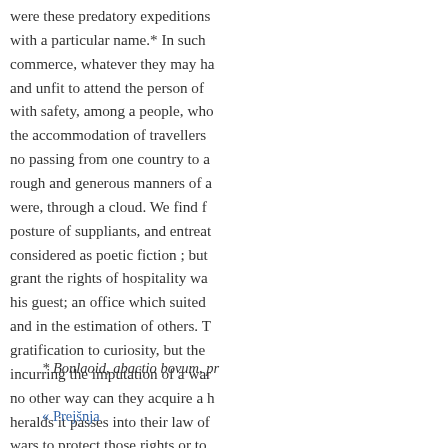were these predatory expeditions with a particular name.* In such commerce, whatever they may ha and unfit to attend the person of with safety, among a people, who the accommodation of travellers no passing from one country to a rough and generous manners of a were, through a cloud. We find f posture of suppliants, and entreat considered as poetic fiction ; but grant the rights of hospitality wa his guest; an office which suited and in the estimation of others. T gratification to curiosity, but the incurring the imputation of a war no other way can they acquire a h heralds it passes into their law of wars to protect those rights or to a private virtue. In the present sta
* Bonlaoid, abactio bovum, pr
« Prejšnja